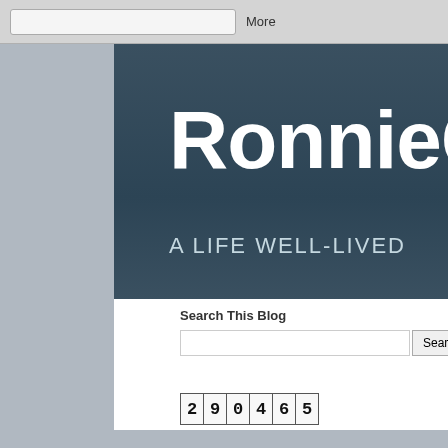More
RonnieChr
A LIFE WELL-LIVED
Search This Blog
Search
290465
Thursday,
This S
You m facts a